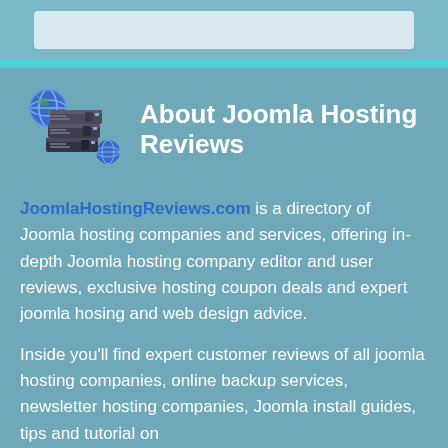[Figure (illustration): Server stack illustration with globe icon, showing stacked server units in dark gray with a blue globe on the left side]
About Joomla Hosting Reviews
JoomlaHostingReviews.com is a directory of Joomla hosting companies and services, offering in-depth Joomla hosting company editor and user reviews, exclusive hosting coupon deals and expert joomla hosing and web design advice.
Inside you'll find expert customer reviews of all joomla hosting companies, online backup services, newsletter hosting companies, Joomla install guides, tips and tutorial on